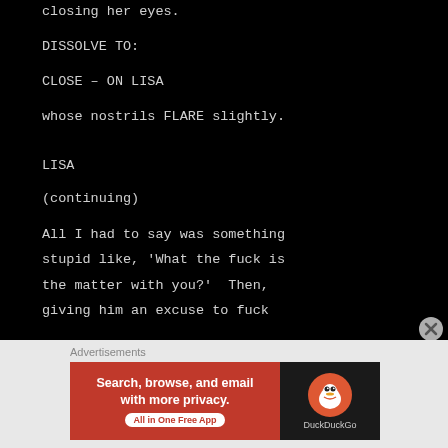closing her eyes.
DISSOLVE TO:
CLOSE – ON LISA
whose nostrils FLARE slightly.
LISA
(continuing)
All I had to say was something stupid like, 'What the fuck is the matter with you?'  Then, giving him an excuse to fuck
[Figure (screenshot): Advertisement banner: DuckDuckGo 'Search, browse, and email with more privacy. All in One Free App' with orange background and duck logo on dark background.]